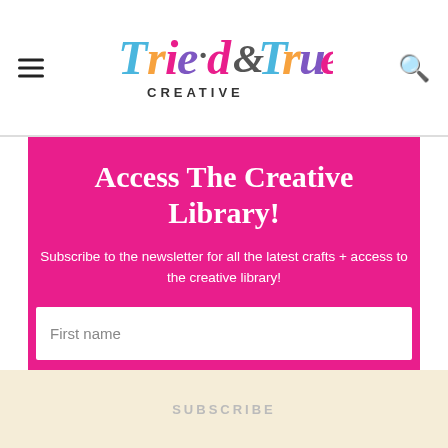Tried & True Creative
Access The Creative Library!
Subscribe to the newsletter for all the latest crafts + access to the creative library!
First name
Email address
SUBSCRIBE